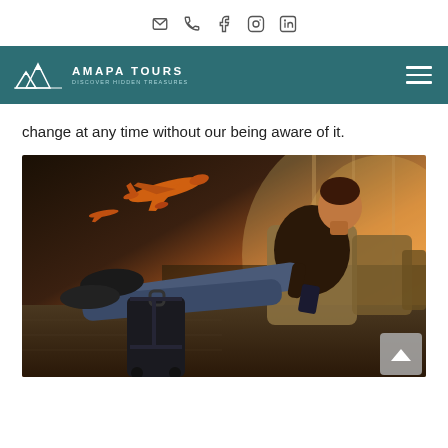Social icons: email, phone, facebook, instagram, linkedin
[Figure (logo): Amapa Tours logo with mountain graphic on teal navigation bar, with hamburger menu icon on the right]
change at any time without our being aware of it.
[Figure (photo): Man sitting in an airport lounge chair with feet resting on a suitcase, watching an airplane take off through the window, warm sunset lighting]